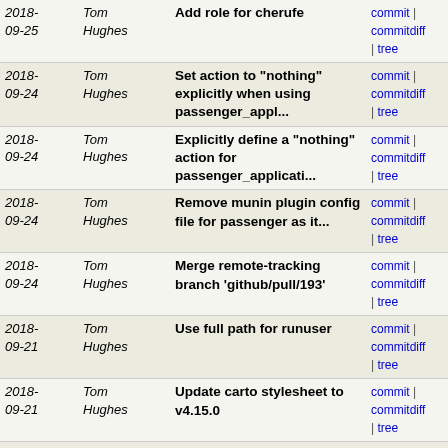| Date | Author | Message | Links |
| --- | --- | --- | --- |
| 2018-09-25 | Tom Hughes | Add role for cherufe | commit | commitdiff | tree |
| 2018-09-24 | Tom Hughes | Set action to "nothing" explicitly when using passenger_appl... | commit | commitdiff | tree |
| 2018-09-24 | Tom Hughes | Explicitly define a "nothing" action for passenger_applicati... | commit | commitdiff | tree |
| 2018-09-24 | Tom Hughes | Remove munin plugin config file for passenger as it... | commit | commitdiff | tree |
| 2018-09-24 | Tom Hughes | Merge remote-tracking branch 'github/pull/193' | commit | commitdiff | tree |
| 2018-09-21 | Tom Hughes | Use full path for runuser | commit | commitdiff | tree |
| 2018-09-21 | Tom Hughes | Update carto stylesheet to v4.15.0 | commit | commitdiff | tree |
| 2018-09-19 | Tom Hughes | Remove unused OWL role and cookbook | commit | commitdiff | tree |
| 2018-09-19 | Tom Hughes | Remove role for zark | commit | commitdiff | tree |
| 2018-09-18 | Tom Hughes | Merge remote-tracking branch 'github/pull/191' | commit | commitdiff | tree |
| 2018-09-17 | Tom Hughes | Add IPv6 address for pyrene | commit | commitdiff | tree |
| 2018-09-17 | Tom Hughes | Drop OWL dev site | commit | commitdiff | tree |
| 2018-09-17 | Tom Hughes | Add log rotation for dev apis | commit | commitdiff | tree |
| 2018-09-17 | Tom Hughes | Update ssh fingerprints for OOB cards | commit | ... |